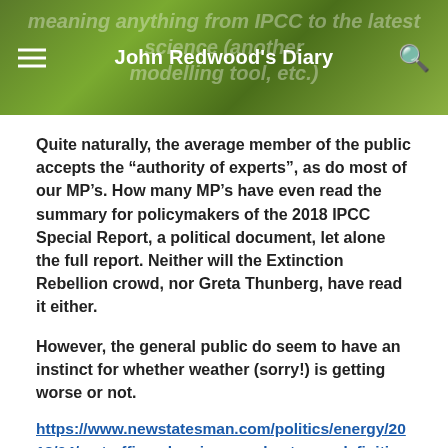John Redwood's Diary
Quite naturally, the average member of the public accepts the “authority of experts”, as do most of our MP’s. How many MP’s have even read the summary for policymakers of the 2018 IPCC Special Report, a political document, let alone the full report. Neither will the Extinction Rebellion crowd, nor Greta Thunberg, have read it either.
However, the general public do seem to have an instinct for whether weather (sorry!) is getting worse or not.
https://www.newstatesman.com/politics/energy/2018/04/met-office-planning-new-heatwave-definition-climate-change-era
“According to Defra research, public awareness of increasing